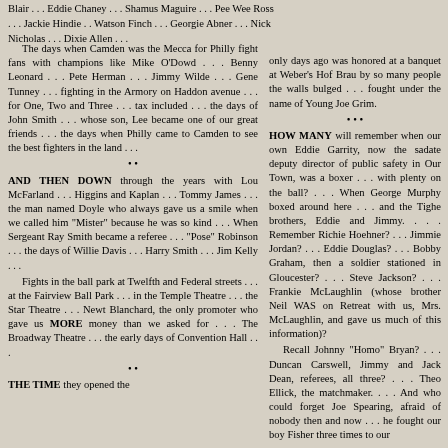Blair . . . Eddie Chaney . . . Shamus Maguire . . . Pee Wee Ross . . . Jackie Hindie . . Watson Finch . . . Georgie Abner . . . Nick Nicholas . . . Dixie Allen . . .
The days when Camden was the Mecca for Philly fight fans with champions like Mike O'Dowd . . . Benny Leonard . . . Pete Herman . . . Jimmy Wilde . . . Gene Tunney . . . fighting in the Armory on Haddon avenue . . . for One, Two and Three . . . tax included . . . the days of John Smith . . . whose son, Lee became one of our great friends . . . the days when Philly came to Camden to see the best fighters in the land . . .
AND THEN DOWN through the years with Lou McFarland . . . Higgins and Kaplan . . . Tommy James . . . the man named Doyle who always gave us a smile when we called him "Mister" because he was so kind . . . When Sergeant Ray Smith became a referee . . . "Pose" Robinson . . . the days of Willie Davis . . . Harry Smith . . . Jim Kelly . . .
Fights in the ball park at Twelfth and Federal streets . . . at the Fairview Ball Park . . . in the Temple Theatre . . . the Star Theatre . . . Newt Blanchard, the only promoter who gave us MORE money than we asked for . . . The Broadway Theatre . . . the early days of Convention Hall . . .
THE TIME they opened the
only days ago was honored at a banquet at Weber's Hof Brau by so many people the walls bulged . . . fought under the name of Young Joe Grim.
HOW MANY will remember when our own Eddie Garrity, now the sadate deputy director of public safety in Our Town, was a boxer . . . with plenty on the ball? . . . When George Murphy boxed around here . . . and the Tighe brothers, Eddie and Jimmy. . . . Remember Richie Hoehner? . . . Jimmie Jordan? . . . Eddie Douglas? . . . Bobby Graham, then a soldier stationed in Gloucester? . . . Steve Jackson? . . . Frankie McLaughlin (whose brother Neil WAS on Retreat with us, Mrs. McLaughlin, and gave us much of this information)?
Recall Johnny "Homo" Bryan? . . . Duncan Carswell, Jimmy and Jack Dean, referees, all three? . . . Theo Ellick, the matchmaker. . . . And who could forget Joe Spearing, afraid of nobody then and now . . . he fought our boy Fisher three times to our